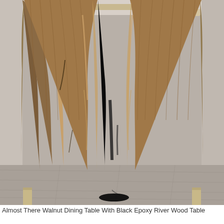[Figure (photo): A live-edge walnut dining table top in progress showing two large walnut slabs with natural live edges facing each other, with a black epoxy resin river channel filling the gap between the two slabs. The wood has warm brown tones with natural grain patterns. The table is resting on wooden supports on a gray floor. Workshop setting.]
Almost There Walnut Dining Table With Black Epoxy River Wood Table